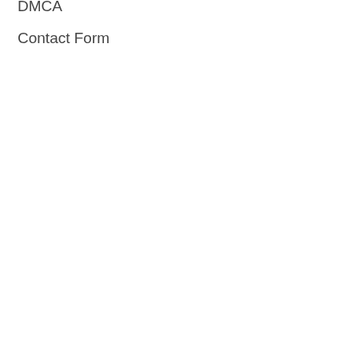≡ 🔍
Nav. Articles
Home
Top News
World
Economy
Science and Health
Technology
sport
entertainment
Contact Form
Pages
About Us
DMCA
Contact Form